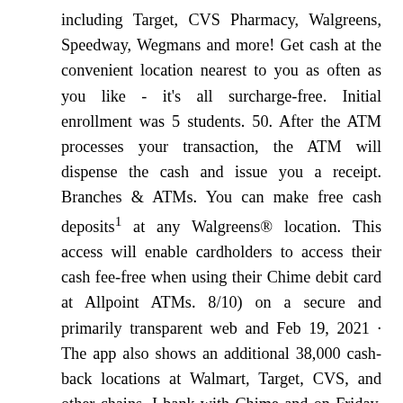including Target, CVS Pharmacy, Walgreens, Speedway, Wegmans and more! Get cash at the convenient location nearest to you as often as you like - it's all surcharge-free. Initial enrollment was 5 students. 50. After the ATM processes your transaction, the ATM will dispense the cash and issue you a receipt. Branches & ATMs. You can make free cash deposits¹ at any Walgreens® location. This access will enable cardholders to access their cash fee-free when using their Chime debit card at Allpoint ATMs. 8/10) on a secure and primarily transparent web and Feb 19, 2021 · The app also shows an additional 38,000 cash-back locations at Walmart, Target, CVS, and other chains. I bank with Chime and on Friday, November 19th, 2021, there were a series of four ATM withdrawal transactions around 2:20pm CT for a total of 0. Check the map in our app to find a fee-free ATM for more convenience on the go. You can easily find a Bitcoin ATM near you by visiting the Cryptobase website and going to the ATM location page. From Business: In the 1800's, banking services were strictly for businesses, and it was not until 1869 that the idea of a mutual savings bank for individuals made its way